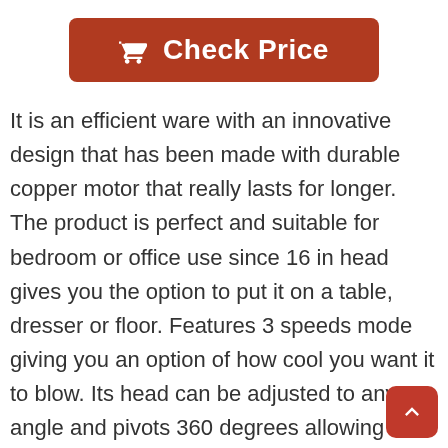[Figure (other): Red 'Check Price' button with shopping cart icon]
It is an efficient ware with an innovative design that has been made with durable copper motor that really lasts for longer. The product is perfect and suitable for bedroom or office use since 16 in head gives you the option to put it on a table, dresser or floor. Features 3 speeds mode giving you an option of how cool you want it to blow. Its head can be adjusted to any angle and pivots 360 degrees allowing wind to be blown any direction of your choice. ETL listing and UL approva it more safe to safe to use